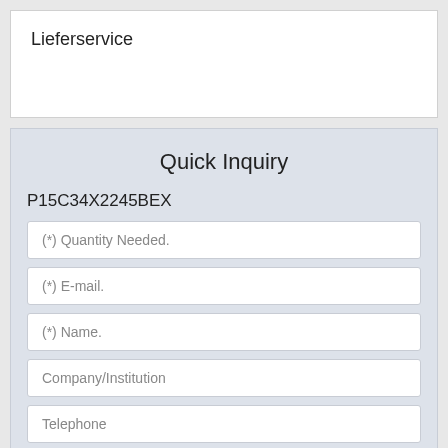Lieferservice
Quick Inquiry
P15C34X2245BEX
(*) Quantity Needed.
(*) E-mail.
(*) Name.
Company/Institution
Telephone
Fax